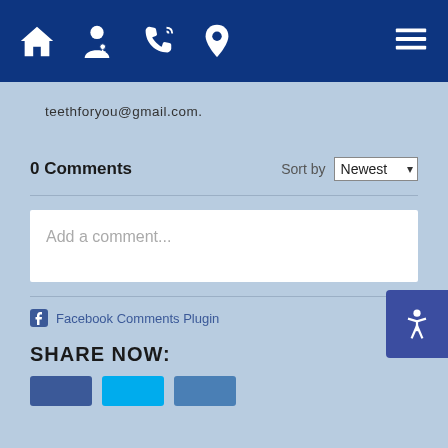[Figure (screenshot): Navigation bar with home, doctor, phone, location icons and hamburger menu on dark blue background]
teethforyou@gmail.com.
0 Comments
Sort by Newest
Add a comment...
Facebook Comments Plugin
SHARE NOW: